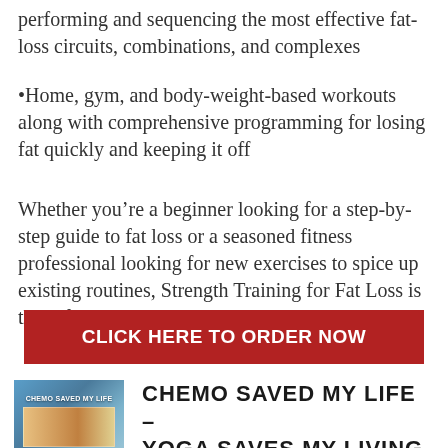performing and sequencing the most effective fat-loss circuits, combinations, and complexes
•Home, gym, and body-weight-based workouts along with comprehensive programming for losing fat quickly and keeping it off
Whether you're a beginner looking for a step-by-step guide to fat loss or a seasoned fitness professional looking for new exercises to spice up existing routines, Strength Training for Fat Loss is the safe program that produces results.
[Figure (other): Red button with white bold text reading CLICK HERE TO ORDER NOW]
[Figure (photo): Book cover for Chemo Saved My Life - Yoga Saves My Living with a photo of people]
CHEMO SAVED MY LIFE - YOGA SAVES MY LIVING